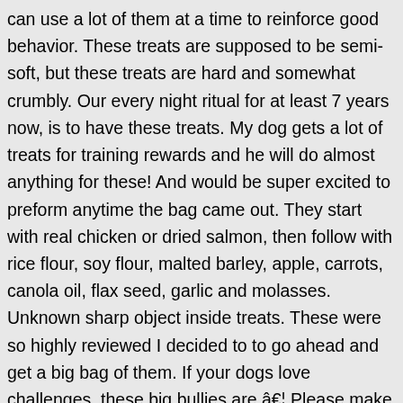can use a lot of them at a time to reinforce good behavior. These treats are supposed to be semi-soft, but these treats are hard and somewhat crumbly. Our every night ritual for at least 7 years now, is to have these treats. My dog gets a lot of treats for training rewards and he will do almost anything for these! And would be super excited to preform anytime the bag came out. They start with real chicken or dried salmon, then follow with rice flour, soy flour, malted barley, apple, carrots, canola oil, flax seed, garlic and molasses. Unknown sharp object inside treats. These were so highly reviewed I decided to to go ahead and get a big bag of them. If your dogs love challenges, these big bullies are â€¦ Please make sure that you are posting in the form of a question. Other buyers, please be aware, and try slicing these treats up before feeding your pets, for their safety. Barley. She knows the difference between the amazon truck ( UPS typically) and the postman bringing a box & when she sees UPS she knows whats coming and knows the box is for her. Reviewed in the United States on April 8, 2017. There's a problem loading this menu right